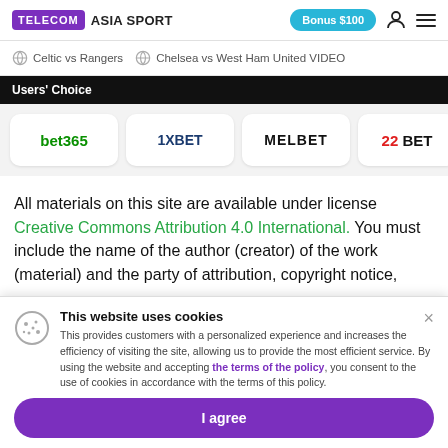TELECOM ASIA SPORT | Bonus $100
Celtic vs Rangers | Chelsea vs West Ham United VIDEO
Users' Choice
[Figure (logo): Bookmakers logos row: bet365, 1XBET, MELBET, 22BET]
All materials on this site are available under license Creative Commons Attribution 4.0 International. You must include the name of the author (creator) of the work (material) and the party of attribution, copyright notice,
This website uses cookies
This provides customers with a personalized experience and increases the efficiency of visiting the site, allowing us to provide the most efficient service. By using the website and accepting the terms of the policy, you consent to the use of cookies in accordance with the terms of this policy.
I agree